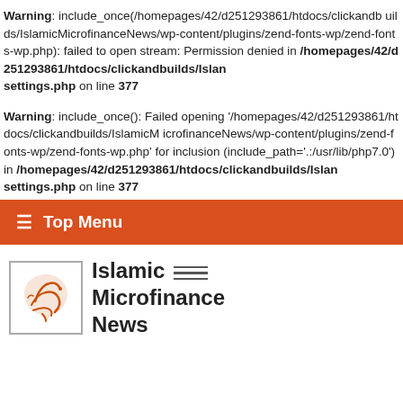Warning: include_once(/homepages/42/d251293861/htdocs/clickandbuilds/IslamicMicrofinanceNews/wp-content/plugins/zend-fonts-wp/zend-fonts-wp.php): failed to open stream: Permission denied in /homepages/42/d251293861/htdocs/clickandbuilds/IslamicMicrofinanceNews/wp-content/themes/Newspaper/settings.php on line 377
Warning: include_once(): Failed opening '/homepages/42/d251293861/htdocs/clickandbuilds/IslamicMicrofinanceNews/wp-content/plugins/zend-fonts-wp/zend-fonts-wp.php' for inclusion (include_path='.:/usr/lib/php7.0') in /homepages/42/d251293861/htdocs/clickandbuilds/IslamicMicrofinanceNews/wp-content/themes/Newspaper/settings.php on line 377
≡ Top Menu
[Figure (logo): Islamic Microfinance News logo with Arabic calligraphy icon in a box and three horizontal lines]